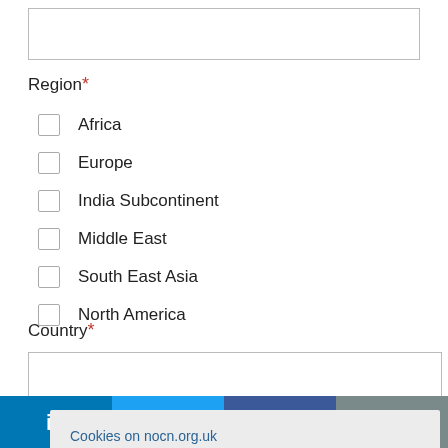[text input box]
Region *
Africa
Europe
India Subcontinent
Middle East
South East Asia
North America
Country *
[country input box]
Wh...
Cookies on nocn.org.uk
We use cookies to enhance your visit to our site. You are free to manage this via your browser setting at any time.
More information  OK